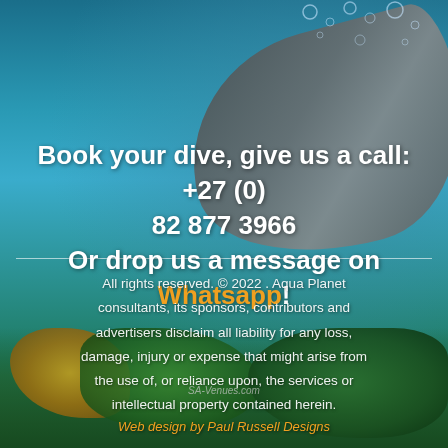[Figure (photo): Underwater scene with a shark swimming near coral reef, blue ocean water background with bubbles]
Book your dive, give us a call: +27 (0) 82 877 3966 Or drop us a message on Whatsapp!
All rights reserved. © 2022 . Aqua Planet consultants, its sponsors, contributors and advertisers disclaim all liability for any loss, damage, injury or expense that might arise from the use of, or reliance upon, the services or intellectual property contained herein.
SA-Venues.com
Web design by Paul Russell Designs